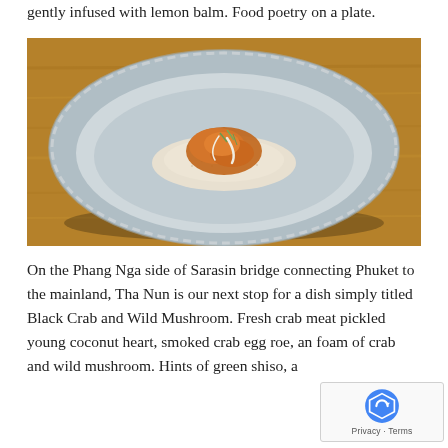gently infused with lemon balm. Food poetry on a plate.
[Figure (photo): A light blue ceramic bowl with scalloped edges on a wooden surface, containing a small mound of what appears to be creamy/grainy base topped with orange-colored crab or seafood and garnished with green herbs.]
On the Phang Nga side of Sarasin bridge connecting Phuket to the mainland, Tha Nun is our next stop for a dish simply titled Black Crab and Wild Mushroom. Fresh crab meat pickled young coconut heart, smoked crab egg roe, an foam of crab and wild mushroom. Hints of green shiso, a